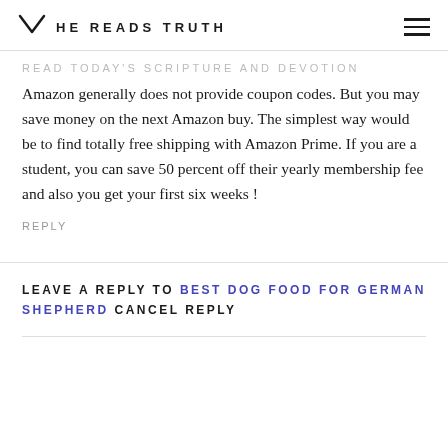HE READS TRUTH
Amazon generally does not provide coupon codes. But you may save money on the next Amazon buy. The simplest way would be to find totally free shipping with Amazon Prime. If you are a student, you can save 50 percent off their yearly membership fee and also you get your first six weeks !
REPLY
LEAVE A REPLY TO BEST DOG FOOD FOR GERMAN SHEPHERD CANCEL REPLY